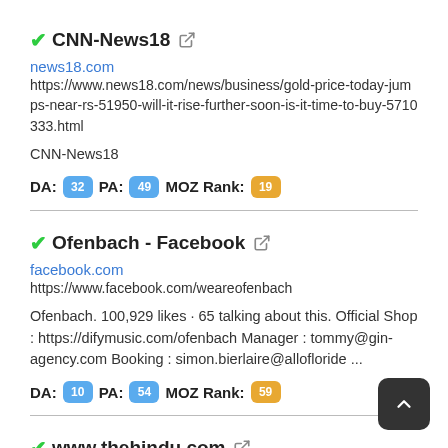CNN-News18 [external link icon]
news18.com
https://www.news18.com/news/business/gold-price-today-jumps-near-rs-51950-will-it-rise-further-soon-is-it-time-to-buy-5710333.html
CNN-News18
DA: 32  PA: 49  MOZ Rank: 19
Ofenbach - Facebook [external link icon]
facebook.com
https://www.facebook.com/weareofenbach
Ofenbach. 100,929 likes · 65 talking about this. Official Shop : https://difymusic.com/ofenbach Manager : tommy@gin-agency.com Booking : simon.bierlaire@allofloride ...
DA: 10  PA: 54  MOZ Rank: 59
www.thehindu.com [external link icon]